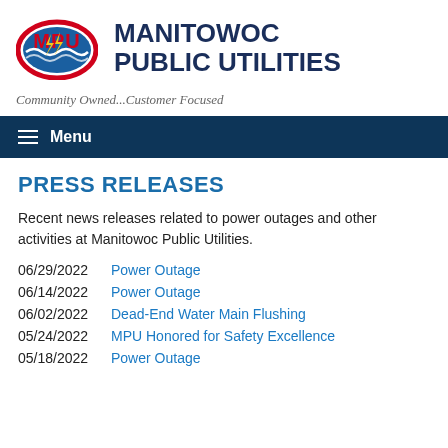[Figure (logo): MPU logo - oval shape with red border, blue waves, yellow lightning bolts, text MPU in red letters]
MANITOWOC PUBLIC UTILITIES
Community Owned...Customer Focused
Menu
PRESS RELEASES
Recent news releases related to power outages and other activities at Manitowoc Public Utilities.
06/29/2022  Power Outage
06/14/2022  Power Outage
06/02/2022  Dead-End Water Main Flushing
05/24/2022  MPU Honored for Safety Excellence
05/18/2022  Power Outage